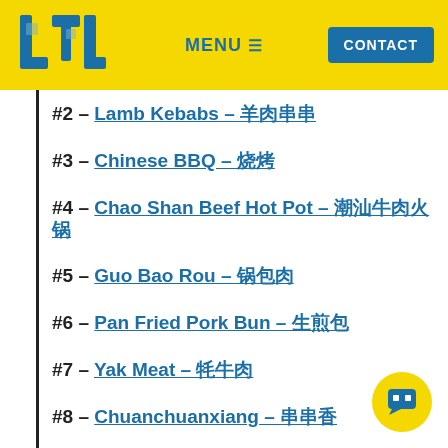LTL | MENU | CONTACT
#2 – Lamb Kebabs – 羊肉串串
#3 – Chinese BBQ – 烧烤
#4 – Chao Shan Beef Hot Pot – 潮汕牛肉火锅
#5 – Guo Bao Rou – 锅包肉
#6 – Pan Fried Pork Bun – 生煎包
#7 – Yak Meat – 牦牛肉
#8 – Chuanchuanxiang – 串串香
#9 – Rou Jia Mo – 肉夹馍
#10 – Fried Rice Cakes – 炒年糕